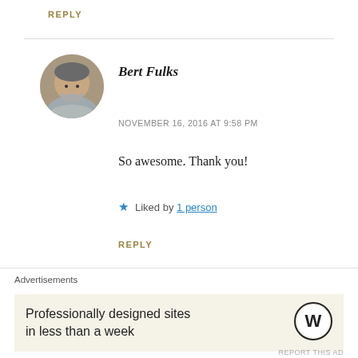REPLY
[Figure (photo): Circular avatar photo of a bearded man smiling, wearing a grey shirt]
Bert Fulks
NOVEMBER 16, 2016 AT 9:58 PM
So awesome. Thank you!
★ Liked by 1 person
REPLY
[Figure (photo): Partial circular avatar of another commenter, pink/red color]
Advertisements
Professionally designed sites in less than a week